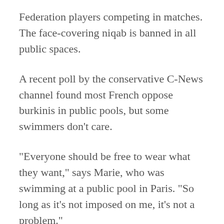Federation players competing in matches. The face-covering niqab is banned in all public spaces.
A recent poll by the conservative C-News channel found most French oppose burkinis in public pools, but some swimmers don't care.
“Everyone should be free to wear what they want,” says Marie, who was swimming at a public pool in Paris. “So long as it’s not imposed on me, it’s not a problem.”